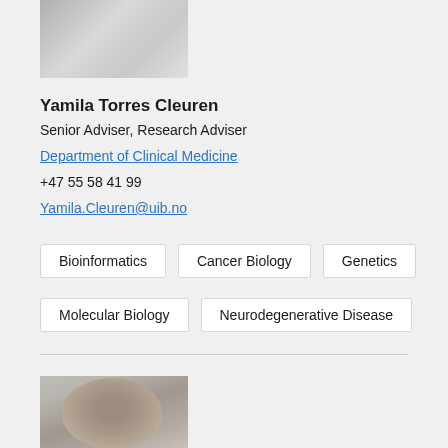[Figure (photo): Partial photo of Yamila Torres Cleuren, cropped at top]
Yamila Torres Cleuren
Senior Adviser, Research Adviser
Department of Clinical Medicine
+47 55 58 41 99
Yamila.Cleuren@uib.no
Bioinformatics
Cancer Biology
Genetics
Molecular Biology
Neurodegenerative Disease
[Figure (photo): Photo of a man with short hair, partially cropped at the bottom of the page]